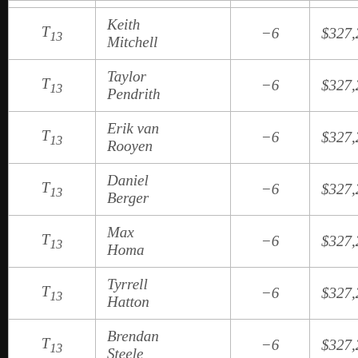| Place | Player | Score | Earnings |
| --- | --- | --- | --- |
| T13 | Keith Mitchell | -6 | $327,222 |
| T13 | Taylor Pendrith | -6 | $327,222 |
| T13 | Erik van Rooyen | -6 | $327,222 |
| T13 | Daniel Berger | -6 | $327,222 |
| T13 | Max Homa | -6 | $327,222 |
| T13 | Tyrrell Hatton | -6 | $327,222 |
| T13 | Brendan Steele | -6 | $327,222 |